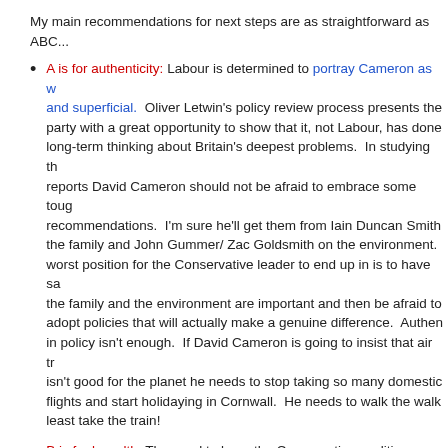My main recommendations for next steps are as straightforward as ABC...
A is for authenticity: Labour is determined to portray Cameron as w... and superficial. Oliver Letwin's policy review process presents the party with a great opportunity to show that it, not Labour, has done long-term thinking about Britain's deepest problems. In studying th... reports David Cameron should not be afraid to embrace some toug... recommendations. I'm sure he'll get them from Iain Duncan Smith... the family and John Gummer/ Zac Goldsmith on the environment. ... worst position for the Conservative leader to end up in is to have sa... the family and the environment are important and then be afraid to adopt policies that will actually make a genuine difference. Authen... in policy isn't enough. If David Cameron is going to insist that air tr... isn't good for the planet he needs to stop taking so many domestic flights and start holidaying in Cornwall. He needs to walk the walk... least take the train!
B is for breadth: The need to keep the Conservative coalition togeth... is being recognised a bit more. Many traditional Tory supporters - offended by the grammar schools row - will have been reassured b... this week's clear leadership on the referendum on the EU Treaty bu... we need more of the same. Last night's remarks by David Camero... that he's committed to the 'And theory' and that crime, family values... and Euroscepticism are as part of his mix as the NHS, greenery an...